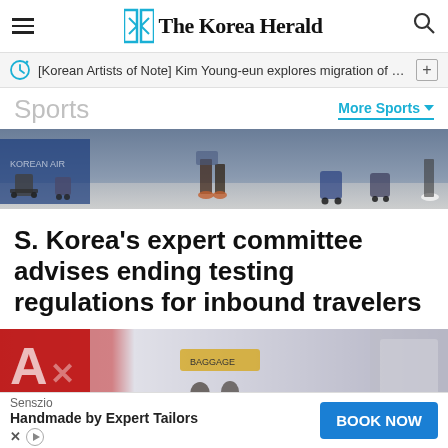The Korea Herald
[Korean Artists of Note] Kim Young-eun explores migration of sou…
Sports
More Sports
[Figure (photo): Airport baggage area with luggage carts and travelers from behind]
S. Korea's expert committee advises ending testing regulations for inbound travelers
[Figure (photo): Airport interior with red airline signage and passengers]
Senszio
Handmade by Expert Tailors
BOOK NOW